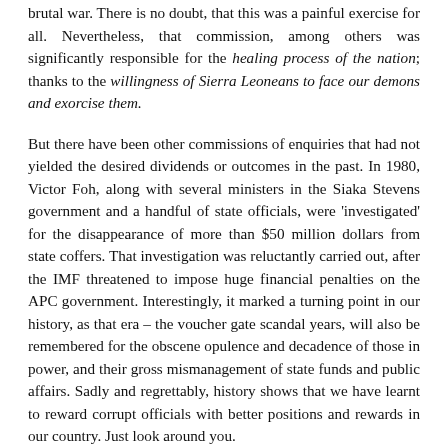brutal war. There is no doubt, that this was a painful exercise for all. Nevertheless, that commission, among others was significantly responsible for the healing process of the nation; thanks to the willingness of Sierra Leoneans to face our demons and exorcise them.
But there have been other commissions of enquiries that had not yielded the desired dividends or outcomes in the past. In 1980, Victor Foh, along with several ministers in the Siaka Stevens government and a handful of state officials, were 'investigated' for the disappearance of more than $50 million dollars from state coffers. That investigation was reluctantly carried out, after the IMF threatened to impose huge financial penalties on the APC government. Interestingly, it marked a turning point in our history, as that era – the voucher gate scandal years, will also be remembered for the obscene opulence and decadence of those in power, and their gross mismanagement of state funds and public affairs. Sadly and regrettably, history shows that we have learnt to reward corrupt officials with better positions and rewards in our country. Just look around you.